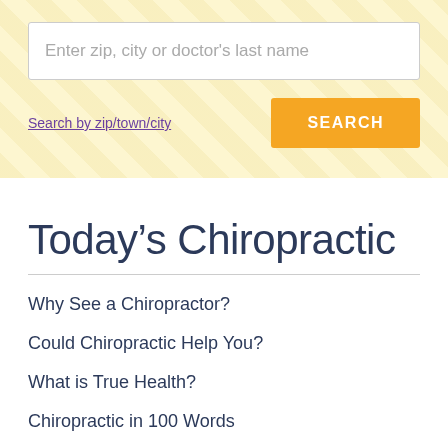[Figure (screenshot): Search banner with yellow patterned background, text input field with placeholder 'Enter zip, city or doctor's last name', a 'Search by zip/town/city' link, and an orange SEARCH button]
Today’s Chiropractic
Why See a Chiropractor?
Could Chiropractic Help You?
What is True Health?
Chiropractic in 100 Words
Subluxation
Adjustments
How to Become a Patient
Why You...